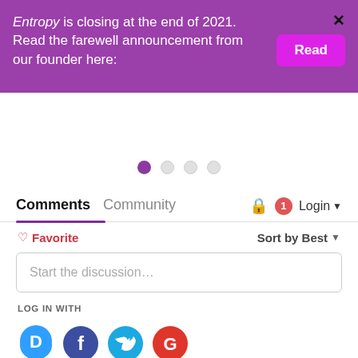Entropy is closing at the end of 2021. Read the farewell announcement from our founder here:
Read
[Figure (infographic): Dot pagination indicator: 4 dots with the first filled purple, the rest empty/grey]
Comments  Community  Login
Favorite  Sort by Best
Start the discussion…
LOG IN WITH
[Figure (infographic): Social login icons: Disqus (blue speech bubble with D), Facebook (dark blue circle with f), Twitter (light blue circle with bird), Google (red circle with G)]